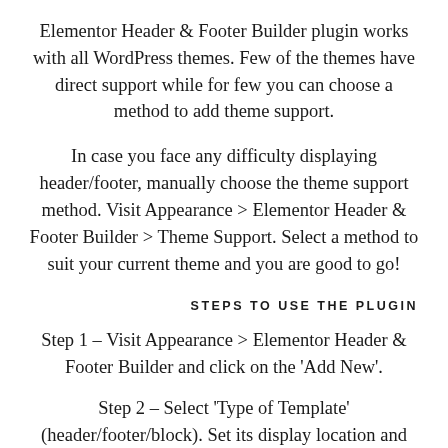Elementor Header & Footer Builder plugin works with all WordPress themes. Few of the themes have direct support while for few you can choose a method to add theme support.
In case you face any difficulty displaying header/footer, manually choose the theme support method. Visit Appearance > Elementor Header & Footer Builder > Theme Support. Select a method to suit your current theme and you are good to go!
STEPS TO USE THE PLUGIN
Step 1 – Visit Appearance > Elementor Header & Footer Builder and click on the 'Add New'.
Step 2 – Select 'Type of Template' (header/footer/block). Set its display location and user roles.